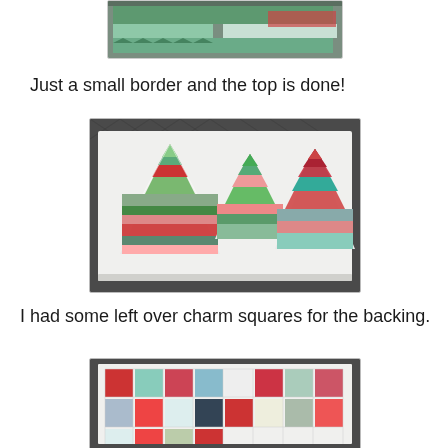[Figure (photo): Partial view of a quilt top with Christmas tree pattern blocks and border, cropped at top]
Just a small border and the top is done!
[Figure (photo): Photo of a quilt table runner on a dark metal surface, featuring three large Christmas tree blocks made from patterned fabrics in red, green, and teal on a white background]
I had some left over charm squares for the backing.
[Figure (photo): Partial photo of quilt backing made from charm squares in various Christmas prints including red, teal, green, grey and white fabrics arranged in a patchwork grid]